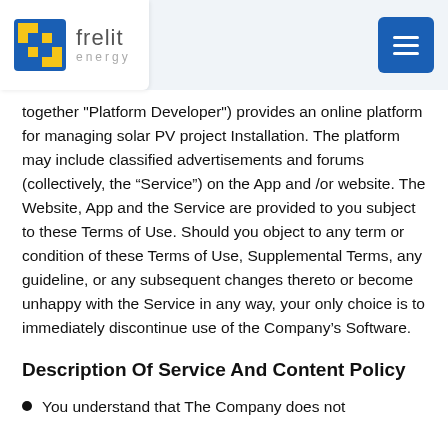frelit energy — navigation header
together "Platform Developer") provides an online platform for managing solar PV project Installation. The platform may include classified advertisements and forums (collectively, the “Service”) on the App and /or website. The Website, App and the Service are provided to you subject to these Terms of Use. Should you object to any term or condition of these Terms of Use, Supplemental Terms, any guideline, or any subsequent changes thereto or become unhappy with the Service in any way, your only choice is to immediately discontinue use of the Company’s Software.
Description Of Service And Content Policy
You understand that The Company does not